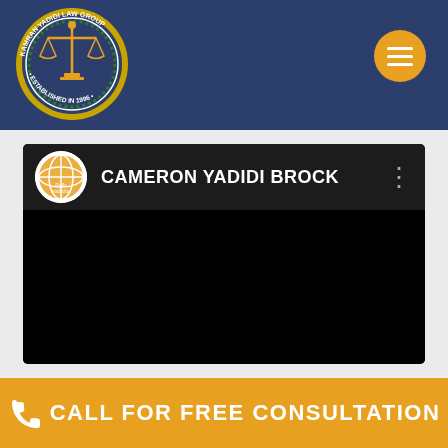[Figure (logo): Kamran Yadidi Law Group circular seal logo with scales of justice, established 1996, on dark blue header background]
[Figure (screenshot): YouTube-style video player showing channel name CAMERON YADIDI BROCK with a circular logo thumbnail on a black background]
CALL FOR FREE CONSULTATION